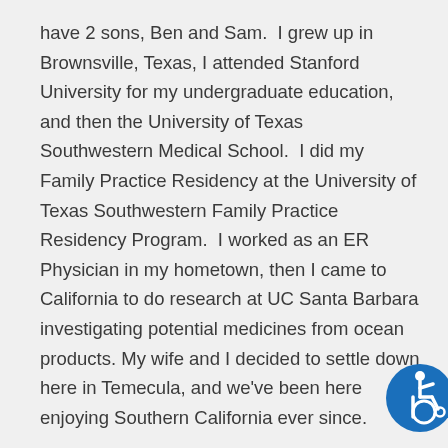have 2 sons, Ben and Sam.  I grew up in Brownsville, Texas, I attended Stanford University for my undergraduate education, and then the University of Texas Southwestern Medical School.  I did my Family Practice Residency at the University of Texas Southwestern Family Practice Residency Program.  I worked as an ER Physician in my hometown, then I came to California to do research at UC Santa Barbara investigating potential medicines from ocean products. My wife and I decided to settle down here in Temecula, and we've been here enjoying Southern California ever since.
[Figure (illustration): Blue circular accessibility icon showing a person in a wheelchair]